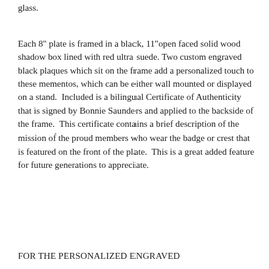glass.
Each 8" plate is framed in a black, 11"open faced solid wood shadow box lined with red ultra suede. Two custom engraved black plaques which sit on the frame add a personalized touch to these mementos, which can be either wall mounted or displayed on a stand.  Included is a bilingual Certificate of Authenticity that is signed by Bonnie Saunders and applied to the backside of the frame.  This certificate contains a brief description of the mission of the proud members who wear the badge or crest that is featured on the front of the plate.  This is a great added feature for future generations to appreciate.
FOR THE PERSONALIZED ENGRAVED